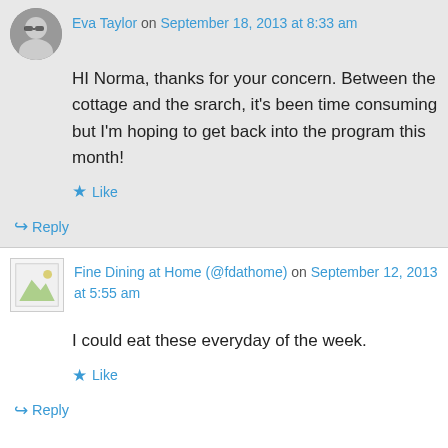Eva Taylor on September 18, 2013 at 8:33 am
HI Norma, thanks for your concern. Between the cottage and the srarch, it's been time consuming but I'm hoping to get back into the program this month!
Like
Reply
Fine Dining at Home (@fdathome) on September 12, 2013 at 5:55 am
I could eat these everyday of the week.
Like
Reply